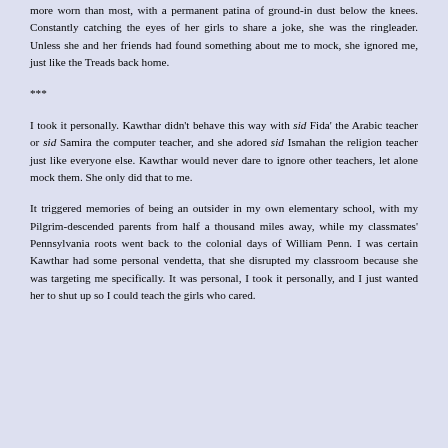more worn than most, with a permanent patina of ground-in dust below the knees. Constantly catching the eyes of her girls to share a joke, she was the ringleader. Unless she and her friends had found something about me to mock, she ignored me, just like the Treads back home.
***
I took it personally. Kawthar didn't behave this way with sid Fida' the Arabic teacher or sid Samira the computer teacher, and she adored sid Ismahan the religion teacher just like everyone else. Kawthar would never dare to ignore other teachers, let alone mock them. She only did that to me.
It triggered memories of being an outsider in my own elementary school, with my Pilgrim-descended parents from half a thousand miles away, while my classmates' Pennsylvania roots went back to the colonial days of William Penn. I was certain Kawthar had some personal vendetta, that she disrupted my classroom because she was targeting me specifically. It was personal, I took it personally, and I just wanted her to shut up so I could teach the girls who cared.